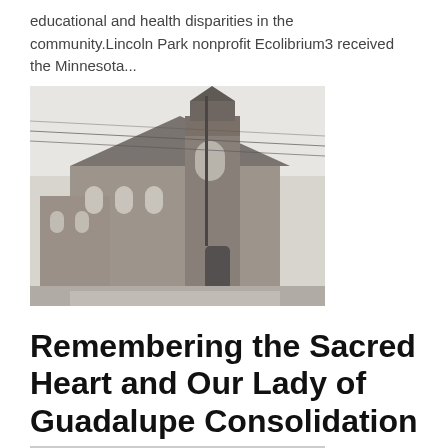educational and health disparities in the community.Lincoln Park nonprofit Ecolibrium3 received the Minnesota...
[Figure (photo): Black and white photograph of a large stone church building with a bell tower and Gothic architectural features, with utility poles and wires visible in the foreground.]
Remembering the Sacred Heart and Our Lady of Guadalupe Consolidation
Wayne B. Walto...    Mar 28, 2022
Share this story Posted 55 minutes ago Image credit above: Our Lady of...